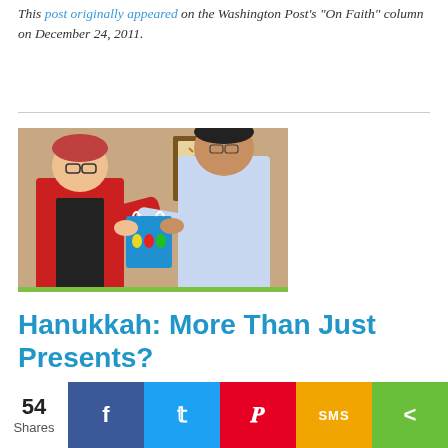This post originally appeared on the Washington Post's “On Faith” column on December 24, 2011.
[Figure (photo): A woman in a red jacket and a man in a light blue shirt exchanging a gift bag with dreidel designs. An artwork hangs on the wall behind them.]
Hanukkah: More Than Just Presents?
54 Shares
[Figure (infographic): Social share bar with Facebook, Twitter, Pinterest, SMS, and share buttons showing 54 total shares.]